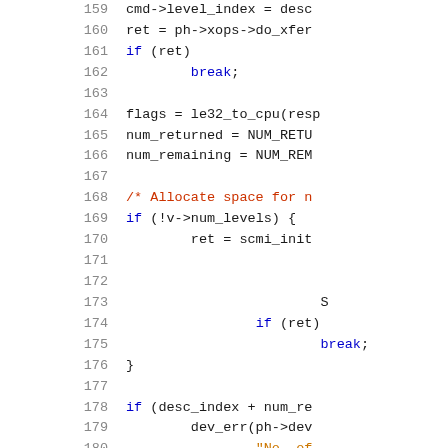[Figure (screenshot): Source code listing showing C code lines 159-180, with syntax highlighting. Line numbers in gray on the left, keywords in blue, comments in red/orange, strings in orange. The code involves SCMI protocol level descriptor initialization logic.]